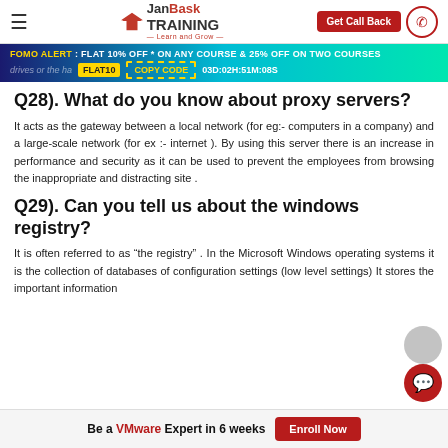JanBask TRAINING — Learn and Grow | Get Call Back
FOMO ALERT : FLAT 10% OFF * ON ANY COURSE & 25% OFF ON TWO COURSES | FLAT10 COPY CODE 03D:02H:51M:08S
Q28). What do you know about proxy servers?
It acts as the gateway between a local network (for eg:- computers in a company) and a large-scale network (for ex :- internet ). By using this server there is an increase in performance and security as it can be used to prevent the employees from browsing the inappropriate and distracting site .
Q29). Can you tell us about the windows registry?
It is often referred to as “the registry” . In the Microsoft Windows operating systems it is the collection of databases of configuration settings (low level settings) It stores the important information
Be a VMware Expert in 6 weeks   Enroll Now